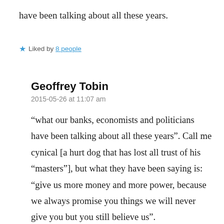have been talking about all these years.
★ Liked by 8 people
Geoffrey Tobin
2015-05-26 at 11:07 am
“what our banks, economists and politicians have been talking about all these years”. Call me cynical [a hurt dog that has lost all trust of his “masters”], but what they have been saying is: “give us more money and more power, because we always promise you things we will never give you but you still believe us”.